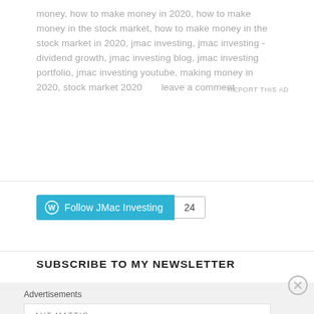money, how to make money in 2020, how to make money in the stock market, how to make money in the stock market in 2020, jmac investing, jmac investing - dividend growth, jmac investing blog, jmac investing portfolio, jmac investing youtube, making money in 2020, stock market 2020      leave a comment
[Figure (other): WordPress Follow JMac Investing button with follower count badge showing 24]
SUBSCRIBE TO MY NEWSLETTER
Advertisements
[Figure (other): Automattic advertisement: Build a better web and a better world.]